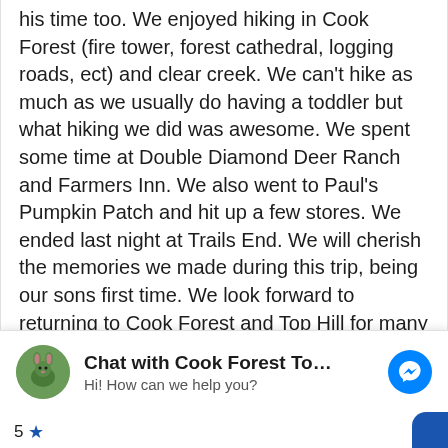his time too. We enjoyed hiking in Cook Forest (fire tower, forest cathedral, logging roads, ect) and clear creek. We can't hike as much as we usually do having a toddler but what hiking we did was awesome. We spent some time at Double Diamond Deer Ranch and Farmers Inn. We also went to Paul's Pumpkin Patch and hit up a few stores. We ended last night at Trails End. We will cherish the memories we made during this trip, being our sons first time. We look forward to returning to Cook Forest and Top Hill for many years to come. We hope that out son and any other children we may have will bring their kids up here too. Thanks again! Be on the lookout for Bigfoot! No
[Figure (screenshot): Facebook Messenger chat widget showing 'Chat with Cook Forest Top Hill Cab...' with avatar image and 'Hi! How can we help you?' subtitle, and a blue messenger icon button]